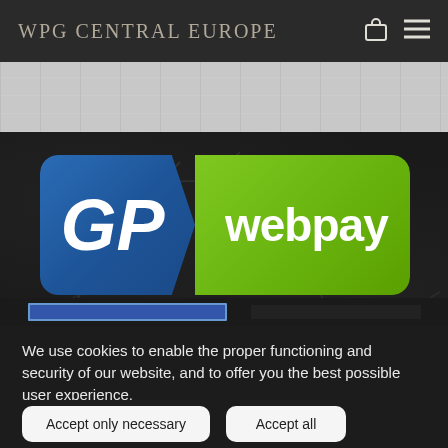WPG CENTRAL EUROPE
[Figure (logo): GP webpay logo — blue left section with italic bold 'GP' text, green right section with bold 'webpay' text, rounded rectangle shape]
We use cookies to enable the proper functioning and security of our website, and to offer you the best possible user experience.
Accept only necessary
Accept all